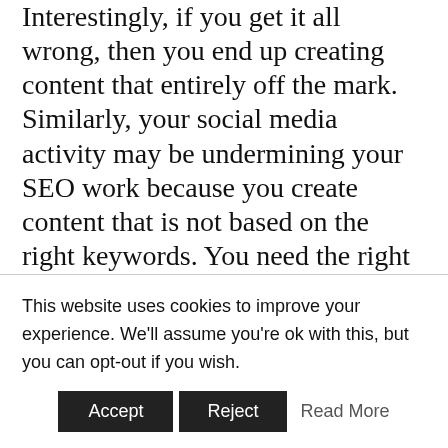Interestingly, if you get it all wrong, then you end up creating content that entirely off the mark. Similarly, your social media activity may be undermining your SEO work because you create content that is not based on the right keywords. You need the right keywords for the content of your social media pages. If the content does not use the keywords that form the basis for your website and blog content, then the content will hurt your search performance.
This website uses cookies to improve your experience. We'll assume you're ok with this, but you can opt-out if you wish.